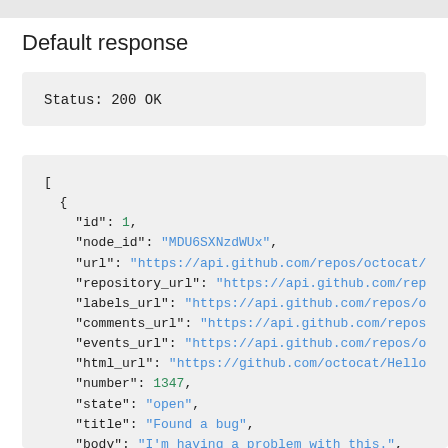Default response
Status: 200 OK
[
  {
    "id": 1,
    "node_id": "MDU6SXNzdWUx",
    "url": "https://api.github.com/repos/octocat/",
    "repository_url": "https://api.github.com/rep",
    "labels_url": "https://api.github.com/repos/o",
    "comments_url": "https://api.github.com/repos",
    "events_url": "https://api.github.com/repos/o",
    "html_url": "https://github.com/octocat/Hello",
    "number": 1347,
    "state": "open",
    "title": "Found a bug",
    "body": "I'm having a problem with this.",